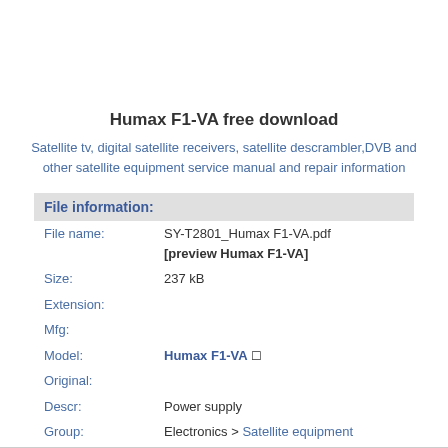Humax F1-VA free download
Satellite tv, digital satellite receivers, satellite descrambler,DVB and other satellite equipment service manual and repair information
| File information: |
| --- |
| File name: | SY-T2801_Humax F1-VA.pdf [preview Humax F1-VA] |
| Size: | 237 kB |
| Extension: |  |
| Mfg: |  |
| Model: | Humax F1-VA |
| Original: |  |
| Descr: | Power supply |
| Group: | Electronics > Satellite equipment |
| Uploaded: | 06-08-2009 |
| User: | Shig |
| Multipart: | No multipart |